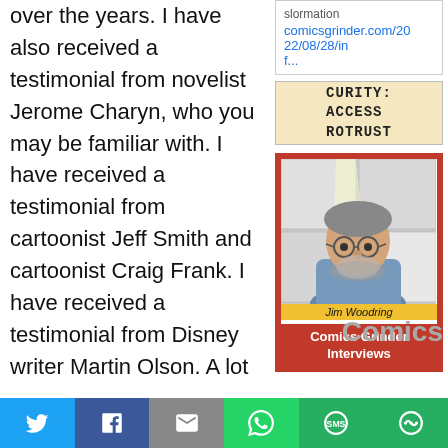over the years. I have also received a testimonial from novelist Jerome Charyn, who you may be familiar with. I have received a testimonial from cartoonist Jeff Smith and cartoonist Craig Frank. I have received a testimonial from Disney writer Martin Olson. A lot
comicsgrinder.com/2022/08/28/inf...
[Figure (illustration): Comic strip snippet showing text: CURITY: ACCESS ROTRUST]
[Figure (photo): Photo of Jim Woodring in a red-bordered card labeled 'Comics Grinder Interviews']
Comics
Share buttons: Twitter, Facebook, Email, WhatsApp, SMS, More